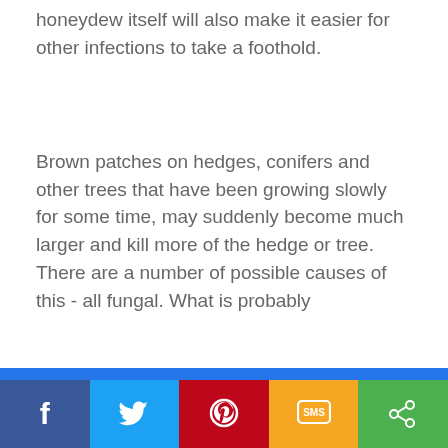honeydew itself will also make it easier for other infections to take a foothold.
Brown patches on hedges, conifers and other trees that have been growing slowly for some time, may suddenly become much larger and kill more of the hedge or tree. There are a number of possible causes of this - all fungal. What is probably …poorly …along …can …ed to …dying …hen in …aves …the …n
We and our partners use cookies on this site to analyze our traffic and personalize ad content. By continuing to use this site we will assume that you are happy with this.
Learn more
Got it!